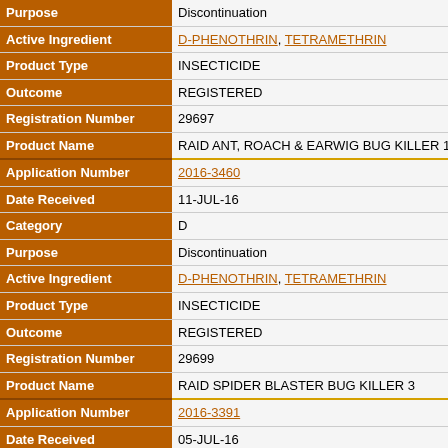| Field | Value |
| --- | --- |
| Purpose | Discontinuation |
| Active Ingredient | D-PHENOTHRIN, TETRAMETHRIN |
| Product Type | INSECTICIDE |
| Outcome | REGISTERED |
| Registration Number | 29697 |
| Product Name | RAID ANT, ROACH & EARWIG BUG KILLER 1 |
| Application Number | 2016-3460 |
| Date Received | 11-JUL-16 |
| Category | D |
| Purpose | Discontinuation |
| Active Ingredient | D-PHENOTHRIN, TETRAMETHRIN |
| Product Type | INSECTICIDE |
| Outcome | REGISTERED |
| Registration Number | 29699 |
| Product Name | RAID SPIDER BLASTER BUG KILLER 3 |
| Application Number | 2016-3391 |
| Date Received | 05-JUL-16 |
| Category | C |
| Purpose | Amendment |
| Active Ingredient | D-PHENOTHRIN, TETRAMETHRIN |
| Product Type | INSECTICIDE |
| Outcome | REGISTERED |
| Registration Number | 30158 |